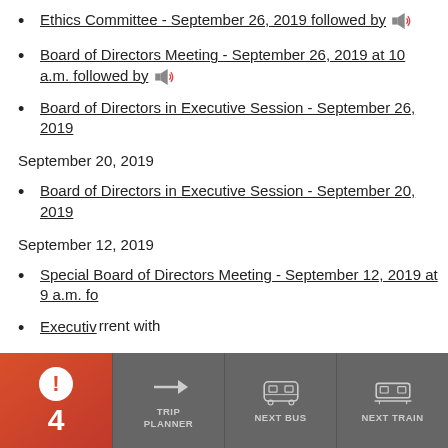Ethics Committee - September 26, 2019 followed by [speaker icon]
Board of Directors Meeting - September 26, 2019 at 10 a.m. followed by [speaker icon]
Board of Directors in Executive Session - September 26, 2019
September 20, 2019
Board of Directors in Executive Session - September 20, 2019
September 12, 2019
Special Board of Directors Meeting - September 12, 2019 at 9 a.m. fo[llowed by...]
Executiv[e Session...] rrent with
[Figure (infographic): Bottom navigation bar with four segments: red alert with exclamation mark and number 4, Trip Planner with arrow icon, Next Bus with bus icon, Next Train with train icon]